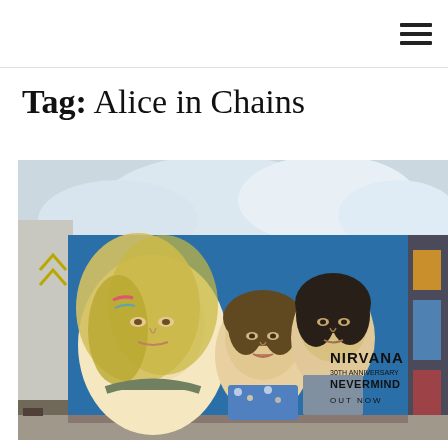☰ (hamburger menu icon)
Tag: Alice in Chains
[Figure (photo): A large outdoor mural on a blue wall depicting three members of Nirvana. The mural includes text reading 'NIRVANA 30TH ANNIVERSARY NEVERMIND OUT NOW'. The leftmost figure has long blond hair, the center figure has shorter brown hair and is wearing a floral shirt, and the right figure has dark hair. On the far right edge of the image is a separate colorful mural. The scene is an urban outdoor setting with cloudy sky visible above the buildings.]